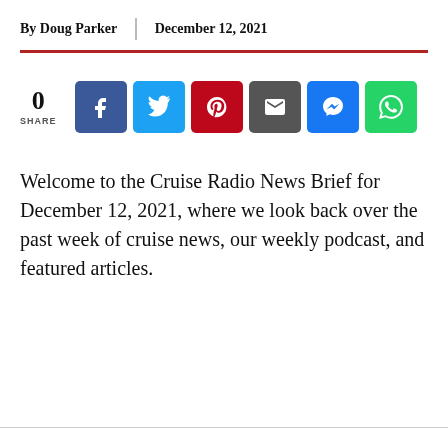By Doug Parker | December 12, 2021
[Figure (infographic): Social share buttons: 0 shares, Facebook, Twitter, Pinterest, Email, Messenger, WhatsApp]
Welcome to the Cruise Radio News Brief for December 12, 2021, where we look back over the past week of cruise news, our weekly podcast, and featured articles.